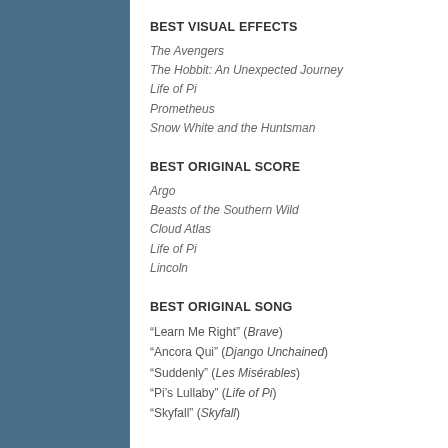BEST VISUAL EFFECTS
The Avengers
The Hobbit: An Unexpected Journey
Life of Pi
Prometheus
Snow White and the Huntsman
BEST ORIGINAL SCORE
Argo
Beasts of the Southern Wild
Cloud Atlas
Life of Pi
Lincoln
BEST ORIGINAL SONG
“Learn Me Right” (Brave)
“Ancora Qui” (Django Unchained)
“Suddenly” (Les Misérables)
“Pi’s Lullaby” (Life of Pi)
“Skyfall” (Skyfall)
Multiple nominations: